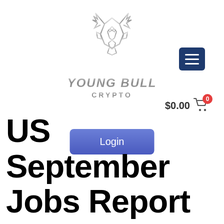[Figure (logo): Young Bull Crypto logo — geometric low-poly bull/deer head above text 'YOUNG BULL CRYPTO' in metallic silver lettering]
[Figure (other): Dark blue hamburger menu button (three white horizontal lines on navy background)]
$0.00 🛒 0
Login
US September Jobs Report